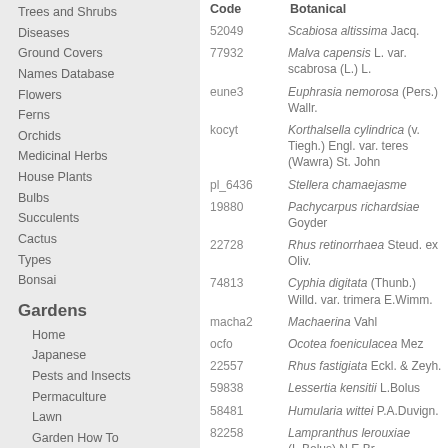Trees and Shrubs
Diseases
Ground Covers
Names Database
Flowers
Ferns
Orchids
Medicinal Herbs
House Plants
Bulbs
Succulents
Cactus
Types
Bonsai
Gardens
Home
Japanese
Pests and Insects
Permaculture
Lawn
Garden How To
Home Improvement
Interior Design
Decorating
House Improvement
Security
Finance
| Code | Botanical |
| --- | --- |
| 52049 | Scabiosa altissima Jacq. |
| 77932 | Malva capensis L. var. scabrosa (L.) L. |
| eune3 | Euphrasia nemorosa (Pers.) Wallr. |
| kocyt | Korthalsella cylindrica (v. Tiegh.) Engl. var. teres (Wawra) St. John |
| pl_6436 | Stellera chamaejasme |
| 19880 | Pachycarpus richardsiae Goyder |
| 22728 | Rhus retinorrhaea Steud. ex Oliv. |
| 74813 | Cyphia digitata (Thunb.) Willd. var. trimera E.Wimm. |
| macha2 | Machaerina Vahl |
| ocfo | Ocotea foeniculacea Mez |
| 22557 | Rhus fastigiata Eckl. & Zeyh. |
| 59838 | Lessertia kensitii L.Bolus |
| 58481 | Humularia wittei P.A.Duvign. |
| 82258 | Lampranthus lerouxiae (L.Bolus) N.E.Br. |